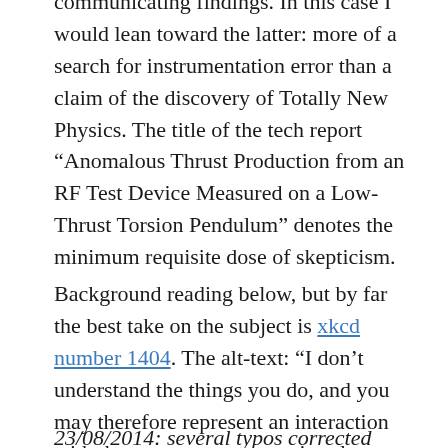communicating findings. In this case I would lean toward the latter: more of a search for instrumentation error than a claim of the discovery of Totally New Physics. The title of the tech report “Anomalous Thrust Production from an RF Test Device Measured on a Low-Thrust Torsion Pendulum” denotes the minimum requisite dose of skepticism.
Background reading below, but by far the best take on the subject is xkcd number 1404. The alt-text: “I don’t understand the things you do, and you may therefore represent an interaction with the quantum vacuum virtual plasma.”
23/08/2014: several typos corrected